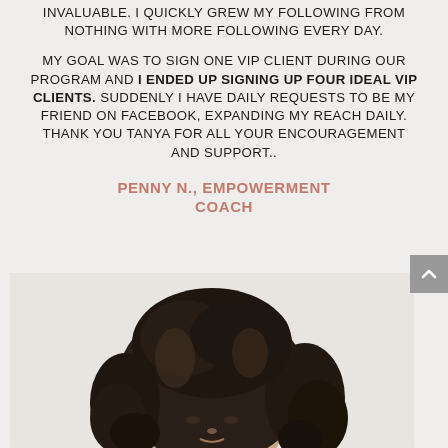INVALUABLE. I QUICKLY GREW MY FOLLOWING FROM NOTHING WITH MORE FOLLOWING EVERY DAY.
MY GOAL WAS TO SIGN ONE VIP CLIENT DURING OUR PROGRAM AND I ENDED UP SIGNING UP FOUR IDEAL VIP CLIENTS. SUDDENLY I HAVE DAILY REQUESTS TO BE MY FRIEND ON FACEBOOK, EXPANDING MY REACH DAILY. THANK YOU TANYA FOR ALL YOUR ENCOURAGEMENT AND SUPPORT..
PENNY N., EMPOWERMENT COACH
[Figure (photo): Portrait photo of a woman with curly dark hair, cropped from shoulders up, white background]